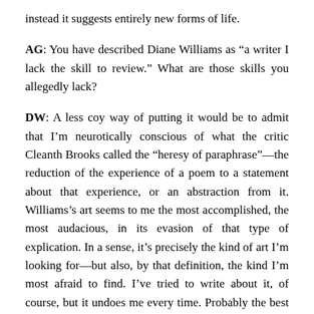instead it suggests entirely new forms of life.
AG: You have described Diane Williams as “a writer I lack the skill to review.” What are those skills you allegedly lack?
DW: A less coy way of putting it would be to admit that I’m neurotically conscious of what the critic Cleanth Brooks called the “heresy of paraphrase”—the reduction of the experience of a poem to a statement about that experience, or an abstraction from it. Williams’s art seems to me the most accomplished, the most audacious, in its evasion of that type of explication. In a sense, it’s precisely the kind of art I’m looking for—but also, by that definition, the kind I’m most afraid to find. I’ve tried to write about it, of course, but it undoes me every time. Probably the best way to write about Williams would be to spend some time